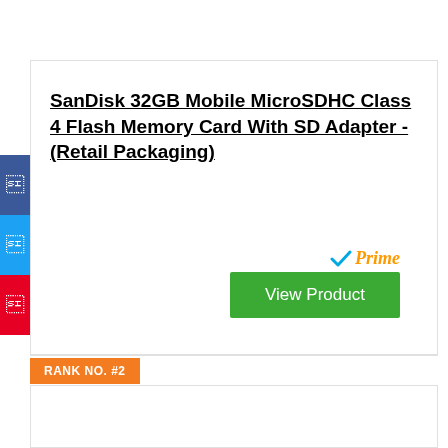SanDisk 32GB Mobile MicroSDHC Class 4 Flash Memory Card With SD Adapter - (Retail Packaging)
[Figure (other): Amazon Prime badge with checkmark and 'Prime' text in orange/blue]
View Product
RANK NO. #2